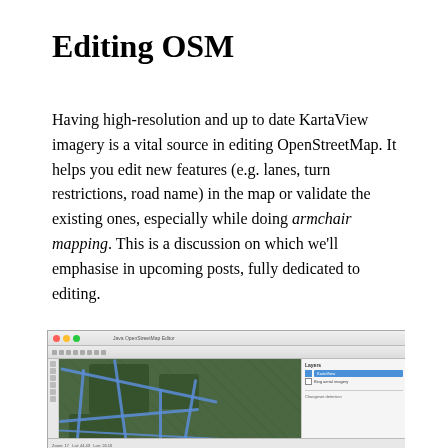Editing OSM
Having high-resolution and up to date KartaView imagery is a vital source in editing OpenStreetMap. It helps you edit new features (e.g. lanes, turn restrictions, road name) in the map or validate the existing ones, especially while doing armchair mapping. This is a discussion on which we'll emphasise in upcoming posts, fully dedicated to editing.
[Figure (screenshot): Screenshot of a JOSM (Java OpenStreetMap Editor) window showing a satellite/aerial map view with blue road overlays on a green background, with a layers panel on the right side showing KartaView imagery layer selected.]